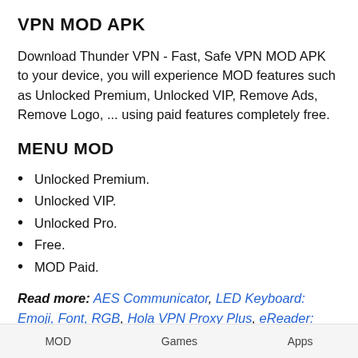VPN MOD APK
Download Thunder VPN - Fast, Safe VPN MOD APK to your device, you will experience MOD features such as Unlocked Premium, Unlocked VIP, Remove Ads, Remove Logo, ... using paid features completely free.
MENU MOD
Unlocked Premium.
Unlocked VIP.
Unlocked Pro.
Free.
MOD Paid.
Read more: AES Communicator, LED Keyboard: Emoji, Font, RGB, Hola VPN Proxy Plus, eReader:
MOD    Games    Apps